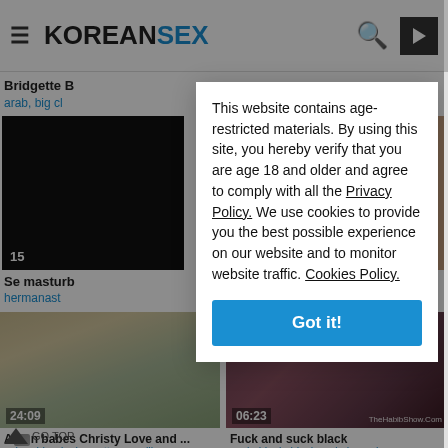KOREAN SEX
Bridgette B
arab, big cl
[Figure (screenshot): Black video thumbnail with timer '15']
Se masturb
hermanast
[Figure (screenshot): Video thumbnail showing kitchen scene, timer 24:09]
[Figure (screenshot): Video thumbnail dark skin, timer 06:23, watermark TheHabibShow.Com]
Asian babes Christy Love and ...
asian, blonde, brunette, cunnili...
Fuck and suck black
suck, black, black and ebony, b...
This website contains age-restricted materials. By using this site, you hereby verify that you are age 18 and older and agree to comply with all the Privacy Policy. We use cookies to provide you the best possible experience on our website and to monitor website traffic. Cookies Policy.
Got it!